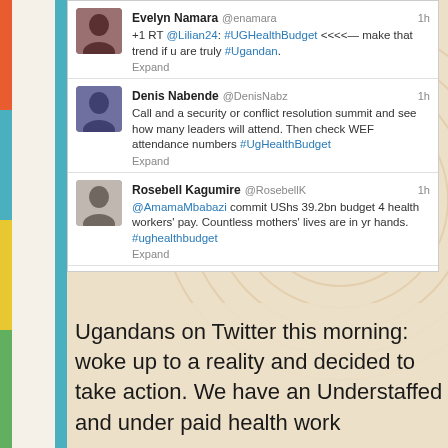[Figure (screenshot): Screenshot of Twitter feed showing tweets about #UGHealthBudget from Evelyn Namara, Denis Nabende, Rosebell Kagumire, Denis Nabende, and Maurice Mugisha]
Ugandans on Twitter this morning: woke up to a reality and decided to take action. We have an Understaffed and under paid health work